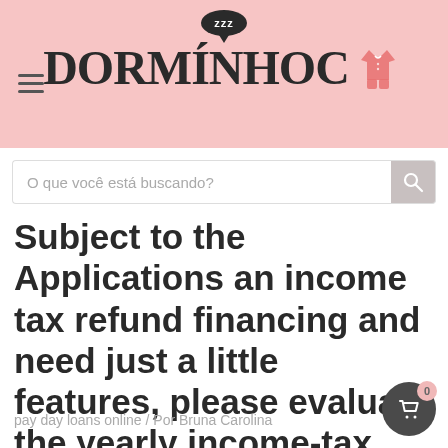DORMINHOCO
O que você está buscando?
Subject to the Applications an income tax refund financing and need just a little features, please evaluate the yearly income-tax returns
pay day loans online / Por Bruna Carolina